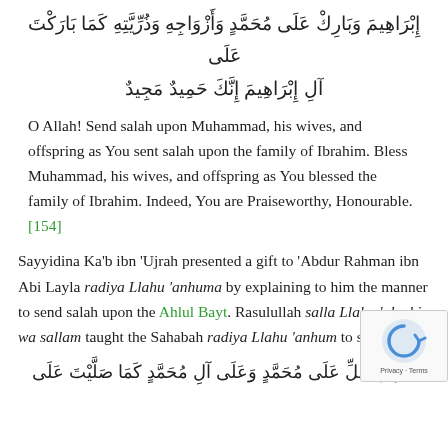إِبْرَاهِيمَ وَبَارِكْ عَلَى مُحَمَّدٍ وَأَزْوَاجِهِ وَذُرِّيَّتِهِ كَمَا بَارَكْتَ عَلَى آلِ إِبْرَاهِيمَ إِنَّكَ حَمِيدٌ مَجِيدٌ
O Allah! Send salah upon Muhammad, his wives, and offspring as You sent salah upon the family of Ibrahim. Bless Muhammad, his wives, and offspring as You blessed the family of Ibrahim. Indeed, You are Praiseworthy, Honourable.[154]
Sayyidina Ka'b ibn 'Ujrah presented a gift to 'Abdur Rahman ibn Abi Layla radiya Llahu 'anhuma by explaining to him the manner to send salah upon the Ahlul Bayt. Rasulullah salla Llahu 'alayhi wa sallam taught the Sahabah radiya Llahu 'anhum to say:
اللَّهُمَّ صَلِّ عَلَى مُحَمَّدٍ وَعَلَى آلِ مُحَمَّدٍ كَمَا صَلَّيْتَ عَلَى